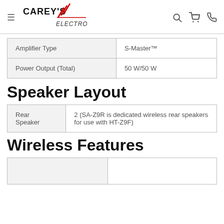Carey's Electronics
| Amplifier Type | S-Master™ |
| --- | --- |
| Amplifier Type | S-Master™ |
| Power Output (Total) | 50 W/50 W |
Speaker Layout
| Rear Speaker | 2 (SA-Z9R is dedicated wireless rear speakers for use with HT-Z9F) |
| --- | --- |
| Rear Speaker | 2 (SA-Z9R is dedicated wireless rear speakers for use with HT-Z9F) |
Wireless Features